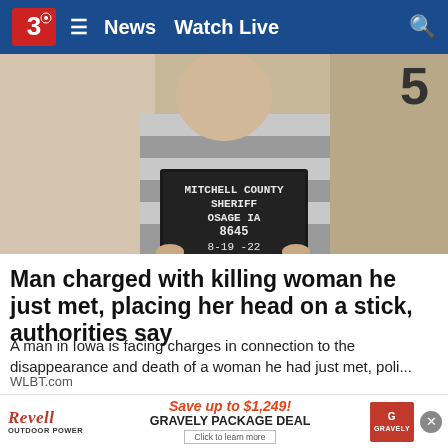3 News  Watch Live
[Figure (photo): Mugshot of a man in striped jail uniform holding a booking board reading: MITCHELL COUNTY SHERIFF OSAGE IA 8645 8-19-22]
Man charged with killing woman he just met, placing her head on a stick, authorities say
A man in Iowa is facing charges in connection to the disappearance and death of a woman he had just met,  poli...
WLBT.com
[Figure (photo): Partial image with green, gold, and red background with a person's head visible at bottom]
[Figure (other): Advertisement banner: REVELL OUTDOOR POWER — Save up to $1,249! GRAVELY PACKAGE DEAL — Click to learn more]